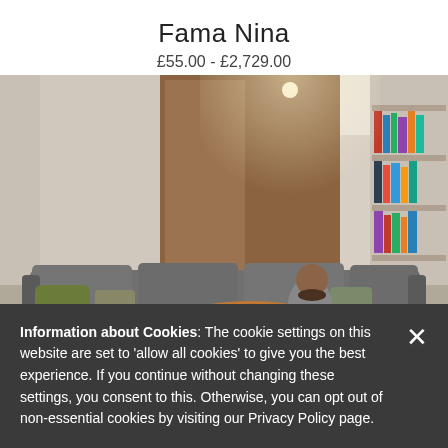Fama Nina
£55.00 - £2,729.00
[Figure (photo): A couple relaxing on a large sectional grey sofa in a modern living room with wooden wall panels, bookshelves, and warm ambient lighting.]
Information about Cookies: The cookie settings on this website are set to 'allow all cookies' to give you the best experience. If you continue without changing these settings, you consent to this. Otherwise, you can opt out of non-essential cookies by visiting our Privacy Policy page.